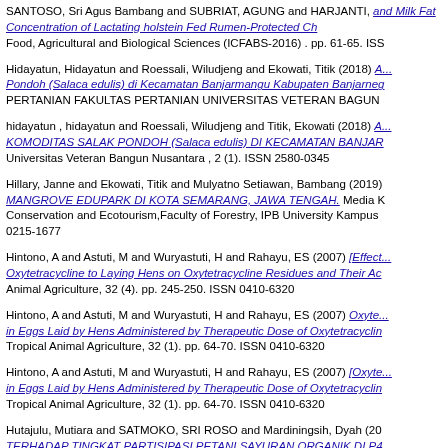SANTOSO, Sri Agus Bambang and SUBRIAT, AGUNG and HARJANTI, ... and Milk Fat Concentration of Lactating holstein Fed Rumen-Protected Ch... Food, Agricultural and Biological Sciences (ICFABS-2016) . pp. 61-65. ISS...
Hidayatun, Hidayatun and Roessali, Wiludjeng and Ekowati, Titik (2018) A... Pondoh (Salaca edulis) di Kecamatan Banjarmangu Kabupaten Banjarneg... PERTANIAN FAKULTAS PERTANIAN UNIVERSITAS VETERAN BAGUN...
hidayatun , hidayatun and Roessali, Wiludjeng and Titik, Ekowati (2018) A... KOMODITAS SALAK PONDOH (Salaca edulis) DI KECAMATAN BANJAR... Universitas Veteran Bangun Nusantara , 2 (1). ISSN 2580-0345
Hillary, Janne and Ekowati, Titik and Mulyatno Setiawan, Bambang (2019) MANGROVE EDUPARK DI KOTA SEMARANG, JAWA TENGAH. Media K... Conservation and Ecotourism,Faculty of Forestry, IPB University Kampus ... 0215-1677
Hintono, A and Astuti, M and Wuryastuti, H and Rahayu, ES (2007) [Effect... Oxytetracycline to Laying Hens on Oxytetracycline Residues and Their Ac... Animal Agriculture, 32 (4). pp. 245-250. ISSN 0410-6320
Hintono, A and Astuti, M and Wuryastuti, H and Rahayu, ES (2007) Oxyte... in Eggs Laid by Hens Administered by Therapeutic Dose of Oxytetracyclin... Tropical Animal Agriculture, 32 (1). pp. 64-70. ISSN 0410-6320
Hintono, A and Astuti, M and Wuryastuti, H and Rahayu, ES (2007) [Oxyte... in Eggs Laid by Hens Administered by Therapeutic Dose of Oxytetracyclin... Tropical Animal Agriculture, 32 (1). pp. 64-70. ISSN 0410-6320
Hutajulu, Mutiara and SATMOKO, SRI ROSO and Mardiningsih, Dyah (20... TERHADAP TINGKAT PARTISIPASI PETANI SAYURAN ORGANIK DI P4... KECAMATAN GETASAN, KABUPATEN SEMARANG, JAWA TENGAH...